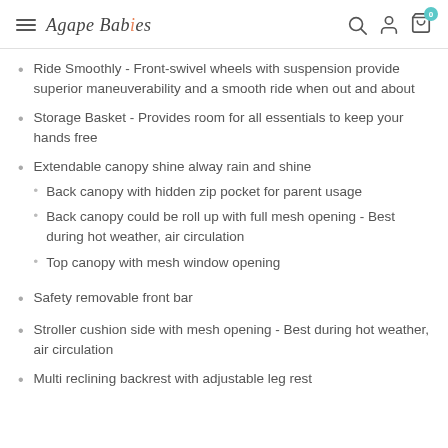Agape Babies
Ride Smoothly - Front-swivel wheels with suspension provide superior maneuverability and a smooth ride when out and about
Storage Basket - Provides room for all essentials to keep your hands free
Extendable canopy shine alway rain and shine
Back canopy with hidden zip pocket for parent usage
Back canopy could be roll up with full mesh opening - Best during hot weather, air circulation
Top canopy with mesh window opening
Safety removable front bar
Stroller cushion side with mesh opening - Best during hot weather, air circulation
Multi reclining backrest with adjustable leg rest